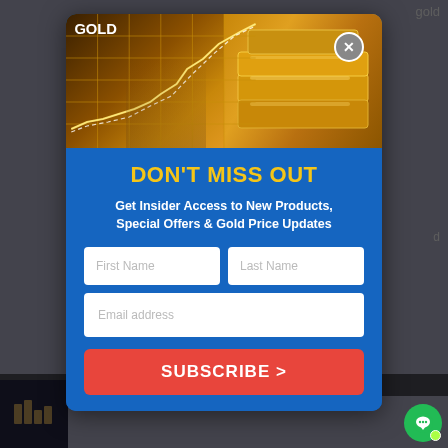[Figure (screenshot): Modal popup overlay on a website promoting gold investments. Contains a hero image of a gold price chart with gold bars, headline 'DON'T MISS OUT', subtext about insider access, two name input fields, email field, and a subscribe button.]
DON'T MISS OUT
Get Insider Access to New Products, Special Offers & Gold Price Updates